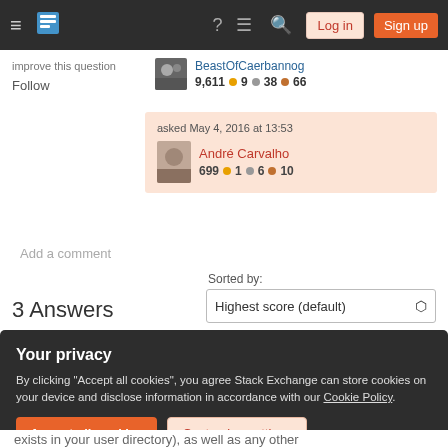Stack Exchange navigation bar with Log in and Sign up buttons
improve this question
Follow
BeastOfCaerbannog
9,611 ● 9 ● 38 ● 66
asked May 4, 2016 at 13:53
André Carvalho
699 ●1 ●6 ●10
Add a comment
3 Answers
Sorted by:
Highest score (default)
Your privacy
By clicking "Accept all cookies", you agree Stack Exchange can store cookies on your device and disclose information in accordance with our Cookie Policy.
Accept all cookies
Customize settings
exists in your user directory), as well as any other